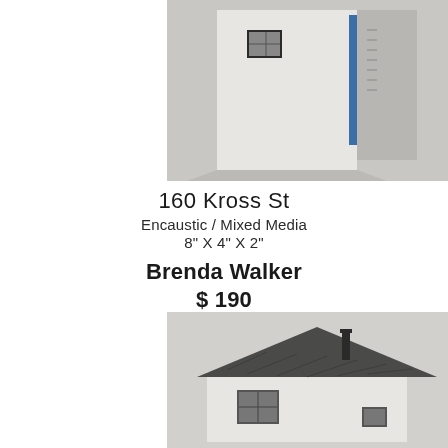[Figure (photo): Close-up photo of a small white ceramic or encaustic house sculpture mounted on a wall, showing details of windows and a blue accent element, with shadow visible on white wall background.]
160 Kross St
Encaustic / Mixed Media
8" X 4" X 2"
Brenda Walker
$ 190
[Figure (photo): Photo of a small white house sculpture with dark grey textured roof and chimney, showing a window on the facade, mounted on a white wall.]